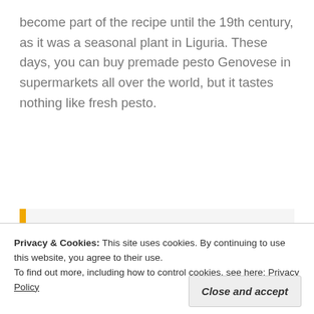become part of the recipe until the 19th century, as it was a seasonal plant in Liguria. These days, you can buy premade pesto Genovese in supermarkets all over the world, but it tastes nothing like fresh pesto.
Genoa is one of my favorite places to visit in Italy
Focaccia & farinata
Privacy & Cookies: This site uses cookies. By continuing to use this website, you agree to their use.
To find out more, including how to control cookies, see here: Privacy Policy